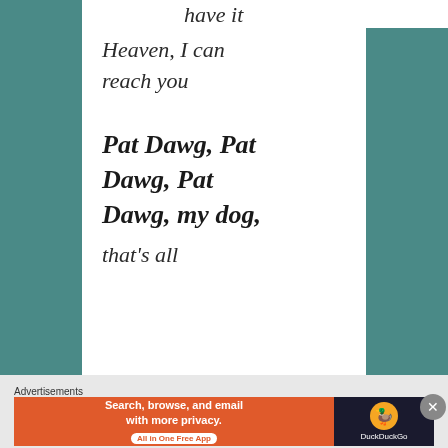have it
Heaven, I can reach you
Pat Dawg, Pat Dawg, Pat Dawg, my dog, that's all
Advertisements
[Figure (screenshot): DuckDuckGo advertisement banner: Search, browse, and email with more privacy. All in One Free App]